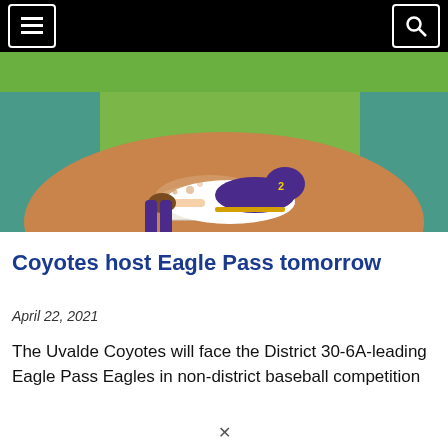Navigation header with menu and search buttons
[Figure (photo): Baseball player in purple and gold uniform sliding into base on a dirt infield, with green outfield grass visible in the background]
Coyotes host Eagle Pass tomorrow
April 22, 2021
The Uvalde Coyotes will face the District 30-6A-leading Eagle Pass Eagles in non-district baseball competition